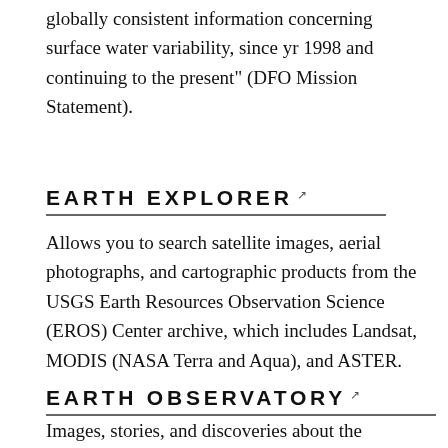globally consistent information concerning surface water variability, since yr 1998 and continuing to the present" (DFO Mission Statement).
EARTH EXPLORER
Allows you to search satellite images, aerial photographs, and cartographic products from the USGS Earth Resources Observation Science (EROS) Center archive, which includes Landsat, MODIS (NASA Terra and Aqua), and ASTER.
EARTH OBSERVATORY
Images, stories, and discoveries about the environment, Earth systems, and climate